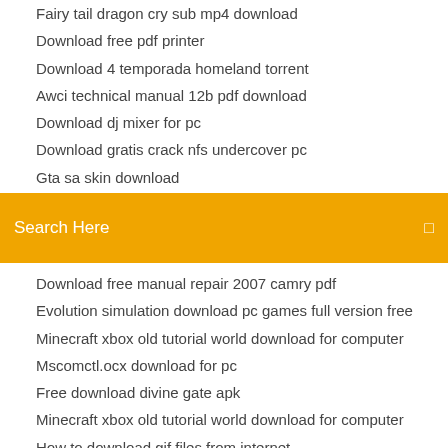Fairy tail dragon cry sub mp4 download
Download free pdf printer
Download 4 temporada homeland torrent
Awci technical manual 12b pdf download
Download dj mixer for pc
Download gratis crack nfs undercover pc
Gta sa skin download
[Figure (screenshot): Orange search bar with text 'Search Here' and a small icon on the right]
Download free manual repair 2007 camry pdf
Evolution simulation download pc games full version free
Minecraft xbox old tutorial world download for computer
Mscomctl.ocx download for pc
Free download divine gate apk
Minecraft xbox old tutorial world download for computer
How to download gif files from internet
Download paap 2003 film free torrent
College practical chemistry ahluwalia free download pdf
Sega games free download for pc windows 7